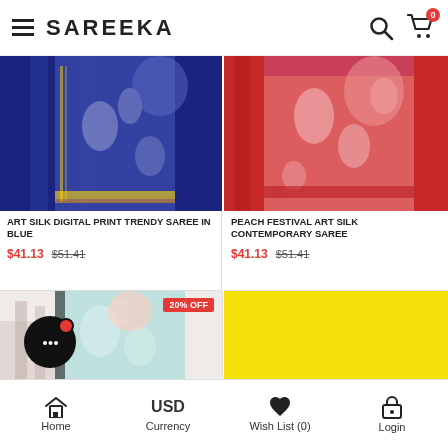SAREEKA
[Figure (photo): Blue Art Silk Digital Print saree product photo]
ART SILK DIGITAL PRINT TRENDY SAREE IN BLUE
$41.13  $51.41
[Figure (photo): Peach Festival Art Silk Contemporary saree product photo]
PEACH FESTIVAL ART SILK CONTEMPORARY SAREE
$41.13  $51.41
[Figure (photo): Third saree product photo with 20% OFF badge]
[Figure (other): Yellow placeholder cell]
Home  USD Currency  Wish List (0)  Login